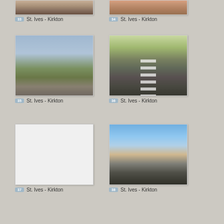[Figure (photo): Partial photo top-left, cropped at top — outdoor scene]
33 St. Ives - Kirkton
[Figure (photo): Partial photo top-right, cropped at top — outdoor scene]
34 St. Ives - Kirkton
[Figure (photo): Landscape photo with open field, sky with clouds, road mirror visible on left]
35 St. Ives - Kirkton
[Figure (photo): Road photo with cyclists riding away from camera, stone wall and green hills in background]
36 St. Ives - Kirkton
[Figure (photo): White/blank photo placeholder]
37 St. Ives - Kirkton
[Figure (photo): Close-up of cycling shoe and pedal, road and buildings in background, blue sky]
38 St. Ives - Kirkton